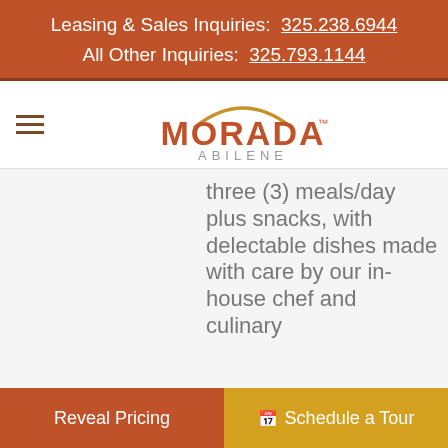Leasing & Sales Inquiries: 325.238.6944
All Other Inquiries: 325.793.1144
[Figure (logo): Morada Abilene logo with orange arc above text]
three (3) meals/day plus snacks, with delectable dishes made with care by our in-house chef and culinary
Reveal Pricing    Schedule a Tour